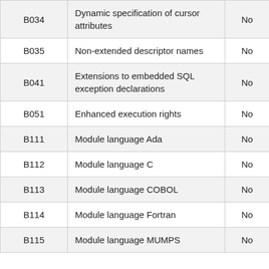| B034 | Dynamic specification of cursor attributes | No |
| B035 | Non-extended descriptor names | No |
| B041 | Extensions to embedded SQL exception declarations | No |
| B051 | Enhanced execution rights | No |
| B111 | Module language Ada | No |
| B112 | Module language C | No |
| B113 | Module language COBOL | No |
| B114 | Module language Fortran | No |
| B115 | Module language MUMPS | No |